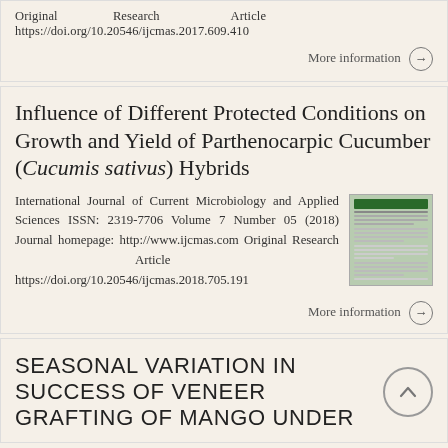Original    Research    Article
https://doi.org/10.20546/ijcmas.2017.609.410
More information →
Influence of Different Protected Conditions on Growth and Yield of Parthenocarpic Cucumber (Cucumis sativus) Hybrids
International Journal of Current Microbiology and Applied Sciences ISSN: 2319-7706 Volume 7 Number 05 (2018) Journal homepage: http://www.ijcmas.com Original Research    Article
https://doi.org/10.20546/ijcmas.2018.705.191
[Figure (other): Thumbnail of journal article page]
More information →
SEASONAL VARIATION IN SUCCESS OF VENEER GRAFTING OF MANGO UNDER